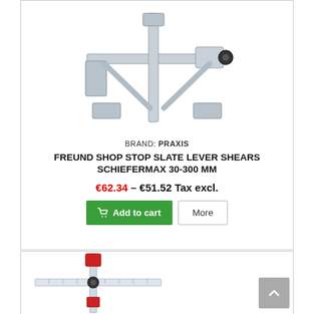[Figure (photo): Metal slate lever shears/cutting tool with cross-shaped frame, silver/grey metallic finish with black adjustment knob]
BRAND: PRAXIS
FREUND SHOP STOP SLATE LEVER SHEARS SCHIEFERMAX 30-300 MM
€62.34 - €51.52 Tax excl.
[Figure (photo): T-square or precision measuring/cutting tool with red accents and ruler markings, silver metallic body]